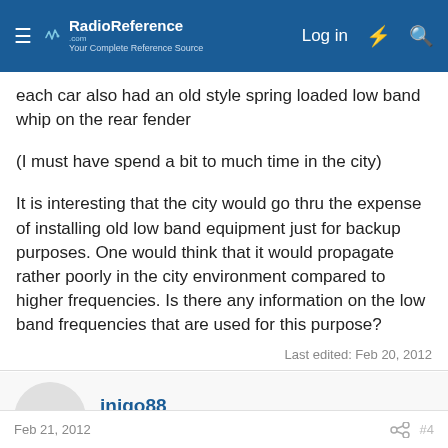RadioReference.com — Log in
each car also had an old style spring loaded low band whip on the rear fender
(I must have spend a bit to much time in the city)
It is interesting that the city would go thru the expense of installing old low band equipment just for backup purposes. One would think that it would propagate rather poorly in the city environment compared to higher frequencies. Is there any information on the low band frequencies that are used for this purpose?
Last edited: Feb 20, 2012
inigo88
California DB Admin  Database Admin
Feb 21, 2012  #4